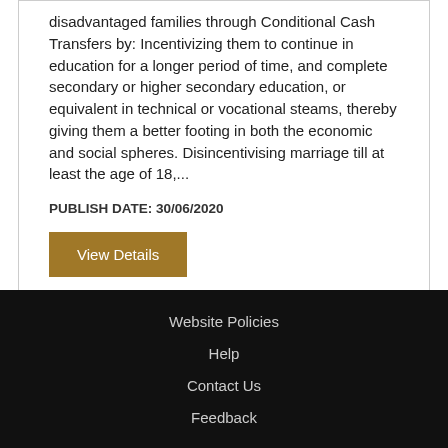disadvantaged families through Conditional Cash Transfers by: Incentivizing them to continue in education for a longer period of time, and complete secondary or higher secondary education, or equivalent in technical or vocational steams, thereby giving them a better footing in both the economic and social spheres. Disincentivising marriage till at least the age of 18,...
PUBLISH DATE: 30/06/2020
View Details
Website Policies
Help
Contact Us
Feedback